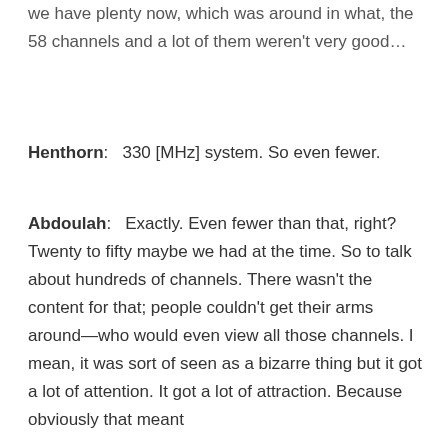we have plenty now, which was around in what, the 58 channels and a lot of them weren't very good...
Henthorn:   330 [MHz] system. So even fewer.
Abdoulah:   Exactly. Even fewer than that, right? Twenty to fifty maybe we had at the time. So to talk about hundreds of channels. There wasn't the content for that; people couldn't get their arms around—who would even view all those channels. I mean, it was sort of seen as a bizarre thing but it got a lot of attention. It got a lot of attraction. Because obviously that meant